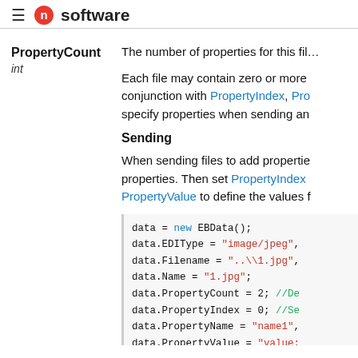≡ n software
PropertyCount
int
The number of properties for this file
Each file may contain zero or more conjunction with PropertyIndex, Pro specify properties when sending an
Sending
When sending files to add properties. Then set PropertyIndex PropertyValue to define the values f
data = new EBData();
data.EDIType = "image/jpeg"
data.Filename = "..\\1.jpg"
data.Name = "1.jpg";
data.PropertyCount = 2; //De
data.PropertyIndex = 0; //Se
data.PropertyName = "name1"
data.PropertyValue = "value:
data.PropertyIndex = 1; //Se